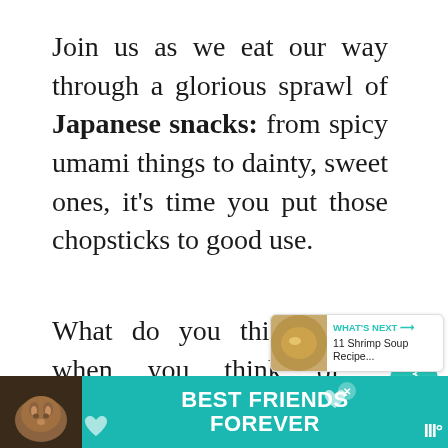Join us as we eat our way through a glorious sprawl of Japanese snacks: from spicy umami things to dainty, sweet ones, it’s time you put those chopsticks to good use.
What do you think of when you think of Japanese food? Rice? Miso? Seaweed? Raw fish?
Perhaps you’re thinking of that
[Figure (screenshot): Social sidebar with heart icon and teal share pill showing count 3, and a 'What's Next' recommendation box for '11 Shrimp Soup Recipe...']
[Figure (infographic): Teal advertisement banner at bottom reading 'BEST FRIENDS FOREVER' with cat photo, heart icons, close button, and logo]